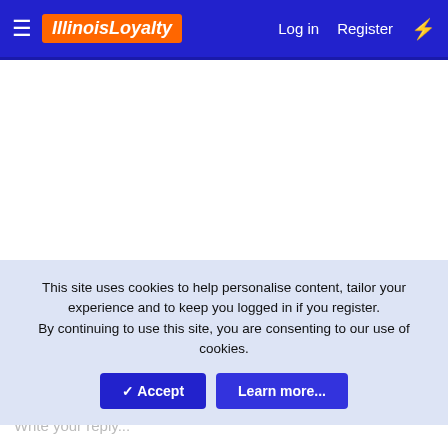IllinoisLoyalty — Log in   Register
This site uses cookies to help personalise content, tailor your experience and to keep you logged in if you register.
By continuing to use this site, you are consenting to our use of cookies.
✓ Accept   Learn more...
Write your reply...